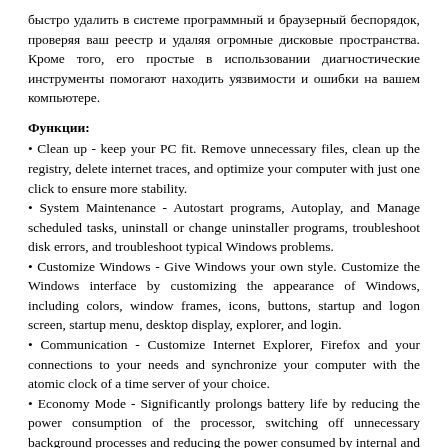быстро удалить в системе программный и браузерный беспорядок, проверяя ваш реестр и удаляя огромные дисковые пространства. Кроме того, его простые в использовании диагностические инструменты помогают находить уязвимости и ошибки на вашем компьютере.
Функции:
• Clean up - keep your PC fit. Remove unnecessary files, clean up the registry, delete internet traces, and optimize your computer with just one click to ensure more stability.
• System Maintenance - Autostart programs, Autoplay, and Manage scheduled tasks, uninstall or change uninstaller programs, troubleshoot disk errors, and troubleshoot typical Windows problems.
• Customize Windows - Give Windows your own style. Customize the Windows interface by customizing the appearance of Windows, including colors, window frames, icons, buttons, startup and logon screen, startup menu, desktop display, explorer, and login.
• Communication - Customize Internet Explorer, Firefox and your connections to your needs and synchronize your computer with the atomic clock of a time server of your choice.
• Economy Mode - Significantly prolongs battery life by reducing the power consumption of the processor, switching off unnecessary background processes and reducing the power consumed by internal and external devices.
• Turbo Mode - One click turns off over 70 unnecessary processes, releasing power for faster browsing, gaming and videos.
• Windows Repair Section to fix a large majority of known Windows problems.
• System Settings - Change the settings of the system, the input devices, drives, application programs, and effects to better customize Windows to your needs.